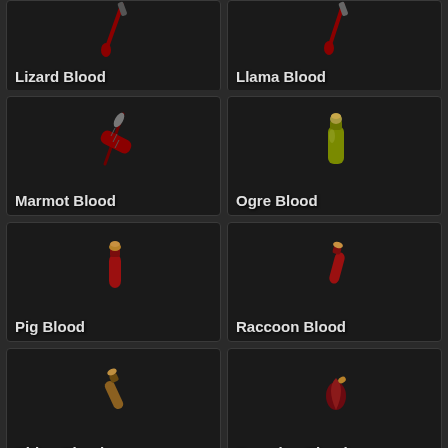[Figure (screenshot): Game inventory grid showing 8 blood vial items: Lizard Blood, Llama Blood, Marmot Blood, Ogre Blood, Pig Blood, Raccoon Blood, Rhino Blood, Scorpion Blood]
Lizard Blood
Llama Blood
Marmot Blood
Ogre Blood
Pig Blood
Raccoon Blood
Rhino Blood
Scorpion Blood